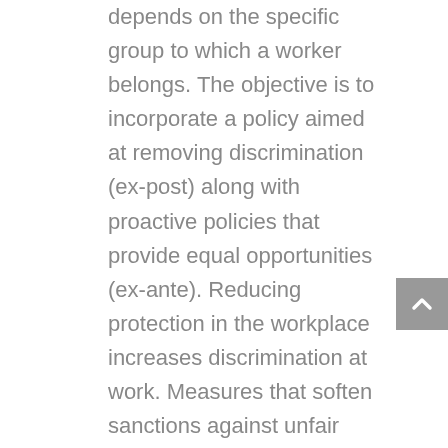depends on the specific group to which a worker belongs. The objective is to incorporate a policy aimed at removing discrimination (ex-post) along with proactive policies that provide equal opportunities (ex-ante). Reducing protection in the workplace increases discrimination at work. Measures that soften sanctions against unfair dismissals, reduce the power of trade unions (or works councils) in the workplace, or spread non-standard working contracts, weaken the current anti-discrimination acquis that provides for strict sanction systems.
Labour market exclusion or the underperformance of specific groups jeopardises economic and social stability. Discrimination